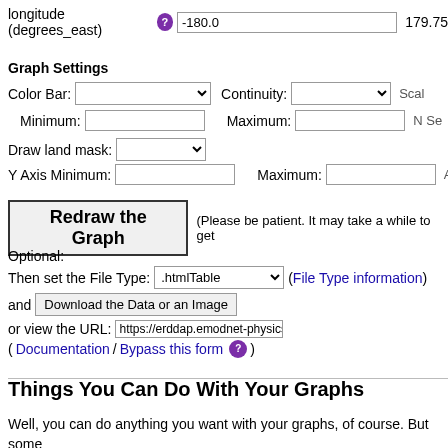longitude (degrees_east) -180.0 ... 179.75
Graph Settings
Color Bar: [dropdown] Continuity: [dropdown] Scale...
Minimum: [input] Maximum: [input] N Se...
Draw land mask: [dropdown]
Y Axis Minimum: [input] Maximum: [input] Asc...
Redraw the Graph (Please be patient. It may take a while to get
Optional:
Then set the File Type: .htmlTable (File Type information)
and Download the Data or an Image
or view the URL: https://erddap.emodnet-physics.eu/erddap/griddap/EMO...
(Documentation / Bypass this form ?)
Things You Can Do With Your Graphs
Well, you can do anything you want with your graphs, of course. But some considered are: